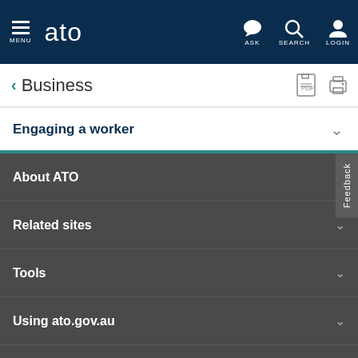ATO - Australian Taxation Office navigation bar with MENU, ato logo, ASK, SEARCH, LOGIN
< Business
Engaging a worker
About ATO
Related sites
Tools
Using ato.gov.au
Help for taxpayers